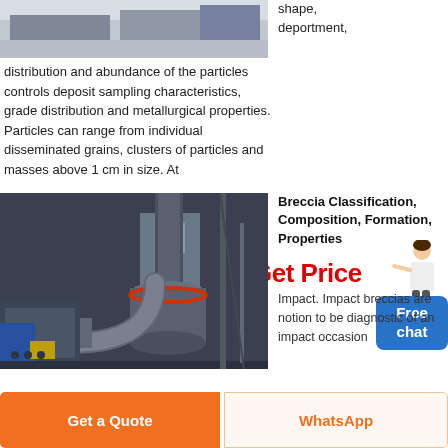[Figure (photo): Top partial photo of industrial equipment or building structure, cropped at top of page]
shape, deportment, distribution and abundance of the particles controls deposit sampling characteristics, grade distribution and metallurgical properties. Particles can range from individual disseminated grains, clusters of particles and masses above 1 cm in size. At
[Figure (infographic): Get Price button with red text and person figure, with blue Free chat button]
[Figure (photo): Industrial machinery photo showing large pipes, cylindrical vessel, and industrial equipment]
Breccia Classification, Composition, Formation, Properties
Impact. Impact breccias are notion to be diagnostic of an impact occasion
Get a Quote
WhatsApp